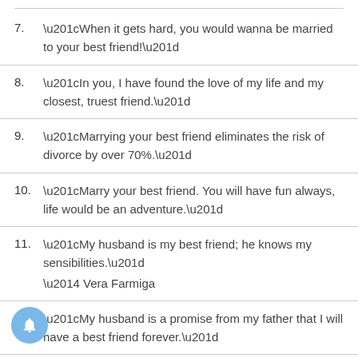7. “When it gets hard, you would wanna be married to your best friend!”
8. “In you, I have found the love of my life and my closest, truest friend.”
9. “Marrying your best friend eliminates the risk of divorce by over 70%.”
10. “Marry your best friend. You will have fun always, life would be an adventure.”
11. “My husband is my best friend; he knows my sensibilities.” — Vera Farmiga
12. “My husband is a promise from my father that I will have a best friend forever.”